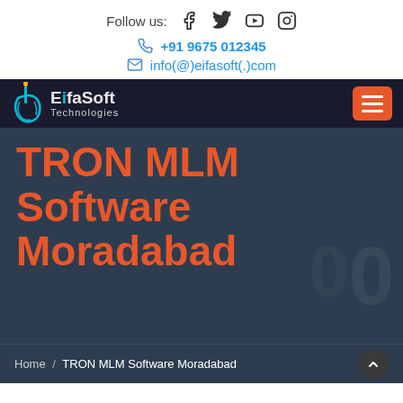Follow us: [Facebook] [Twitter] [YouTube] [Instagram]
+91 9675 012345
info(@)eifasoft(.)com
[Figure (logo): EifaSoft Technologies logo with navigation bar and hamburger menu button]
TRON MLM Software Moradabad
Home / TRON MLM Software Moradabad